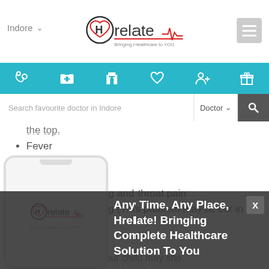Hrelate — Bringing Healthcare to YOU | Indore
the top.
Fever
Headache
Rash
Difficulty in swelling and throat pain
Nausea or vomiting (This problem may occur in younger children)
Body aches
may be chances that your child may sho or more of the above mentioned sympto s... The...
Any Time, Any Place, Hrelate! Bringing Complete Healthcare Solution To You